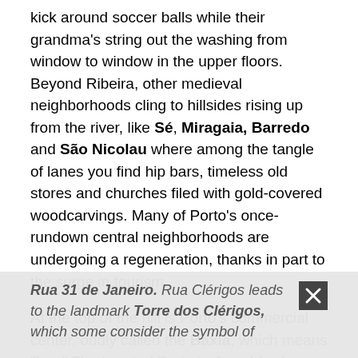kick around soccer balls while their grandma's string out the washing from window to window in the upper floors. Beyond Ribeira, other medieval neighborhoods cling to hillsides rising up from the river, like Sé, Miragaia, Barredo and São Nicolau where among the tangle of lanes you find hip bars, timeless old stores and churches filed with gold-covered woodcarvings. Many of Porto's once-rundown central neighborhoods are undergoing a regeneration, thanks in part to the surge in tourism.
At the top of the hill is Porto's commercial center, oddly called the Baxia, which means "low." The heart of Porto is Avenida dos Aliados, with its parklike center, where families sometimes go for a stroll. It's bounded on the south by Praça General Humberto Delgado. Two major shopping streets lie on either side of Praça de Liberdade: Rua dos Clérigos and
Rua 31 de Janeiro. Rua Clérigos leads to the landmark Torre dos Clérigos, which some consider the symbol of